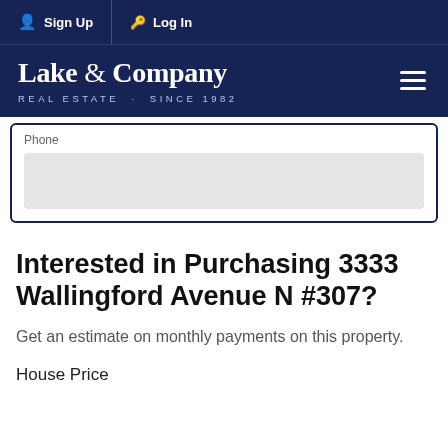Sign Up   Log In
[Figure (logo): Lake & Company Real Estate Since 1982 logo with hamburger menu icon]
Phone
Interested in Purchasing 3333 Wallingford Avenue N #307?
Get an estimate on monthly payments on this property.
House Price